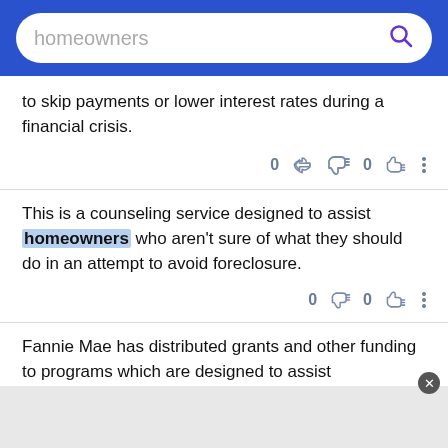homeowners [search bar]
to skip payments or lower interest rates during a financial crisis.
This is a counseling service designed to assist homeowners who aren't sure of what they should do in an attempt to avoid foreclosure.
Fannie Mae has distributed grants and other funding to programs which are designed to assist homeowners in keeping their homes.